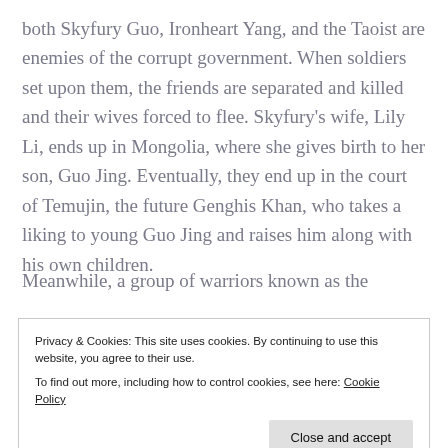both Skyfury Guo, Ironheart Yang, and the Taoist are enemies of the corrupt government. When soldiers set upon them, the friends are separated and killed and their wives forced to flee. Skyfury's wife, Lily Li, ends up in Mongolia, where she gives birth to her son, Guo Jing. Eventually, they end up in the court of Temujin, the future Genghis Khan, who takes a liking to young Guo Jing and raises him along with his own children.
Meanwhile, a group of warriors known as the
Privacy & Cookies: This site uses cookies. By continuing to use this website, you agree to their use.
To find out more, including how to control cookies, see here: Cookie Policy
opposite. The Seven Freaks of the South